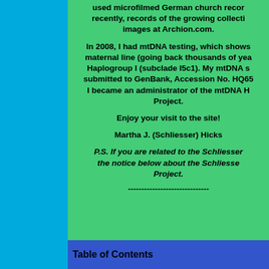used microfilmed German church records, recently, records of the growing collection images at Archion.com.

In 2008, I had mtDNA testing, which shows maternal line (going back thousands of years) Haplogroup I (subclade I5c1). My mtDNA sequence submitted to GenBank, Accession No. HQ65... I became an administrator of the mtDNA Haplogroup Project.

Enjoy your visit to the site!

Martha J. (Schliesser) Hicks
P.S. If you are related to the Schliesser family, see the notice below about the Schliesser DNA Project.
------------------------------
Table of Contents